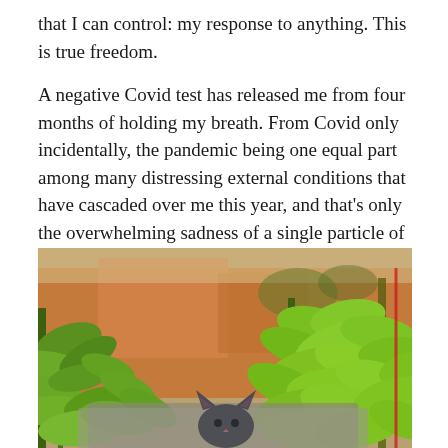that I can control: my response to anything. This is true freedom.
A negative Covid test has released me from four months of holding my breath. From Covid only incidentally, the pandemic being one equal part among many distressing external conditions that have cascaded over me this year, and that's only the overwhelming sadness of a single particle of humanity, the insignificant itchings of a lone flea on a small dry patch of the planet's skin.
[Figure (photo): A photograph showing green plants (pepper plants) in the foreground with a cat peeking between them. Background shows an outdoor garden area with terracotta-colored structures.]